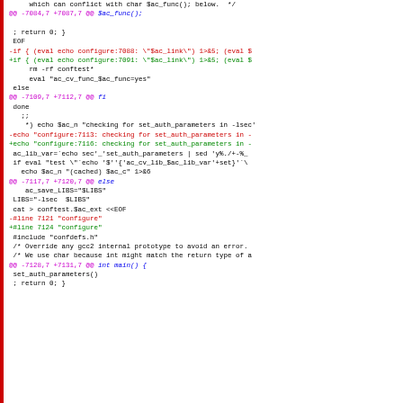diff/patch output showing code changes to a configure script, including hunk headers and added/removed lines for set_auth_parameters and related functions